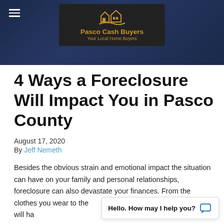[Figure (logo): Pasco Cash Buyers logo with house icon and tagline 'Your Local Home Buyers' on dark background header banner]
4 Ways a Foreclosure Will Impact You in Pasco County
August 17, 2020
By Jeff Nemeth
Besides the obvious strain and emotional impact the situation can have on your family and personal relationships, foreclosure can also devastate your finances. From the clothes you wear to the [area where you] reside or work, it will ha[ve an impact on you]
Hello. How may I help you?